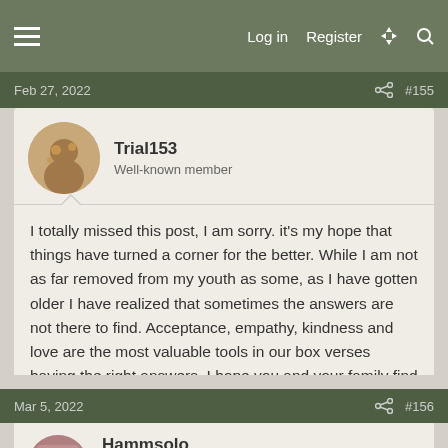Log in   Register
Feb 27, 2022  #155
Trial153
Well-known member
I totally missed this post, I am sorry. it’s my hope that things have turned a corner for the better. While I am not as far removed from my youth as some, as I have gotten older I have realized that sometimes the answers are not there to find. Acceptance, empathy, kindness and love are the most valuable tools in our box verses having the right answers. I hope you and your family find them all in these tough times.
SnowyMountaineer, neffa3 and MarvB
Mar 5, 2022  #156
Hammsolo
Well-known member